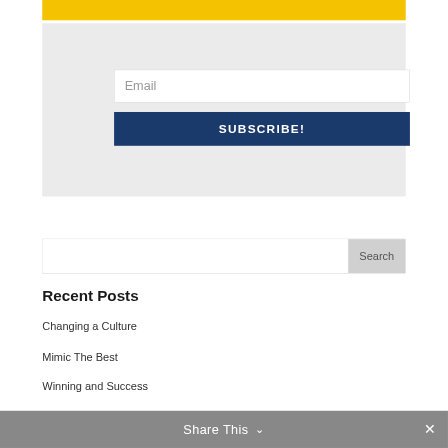[Figure (screenshot): Yellow bar at top of subscription widget]
Email
SUBSCRIBE!
Search
Recent Posts
Changing a Culture
Mimic The Best
Winning and Success
Share This ∨  ✕